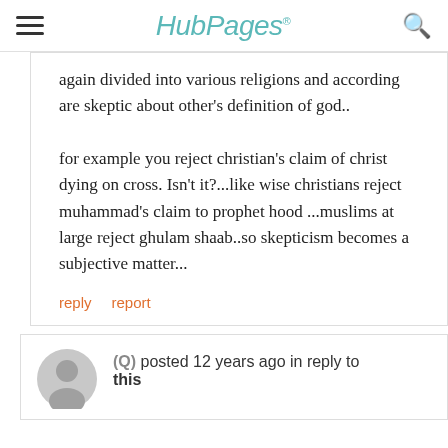HubPages
again divided into various religions and according are skeptic about other's definition of god..
for example you reject christian's claim of christ dying on cross. Isn't it?...like wise christians reject muhammad's claim to prophet hood ...muslims at large reject ghulam shaab..so skepticism becomes a subjective matter...
reply   report
(Q) posted 12 years ago in reply to this